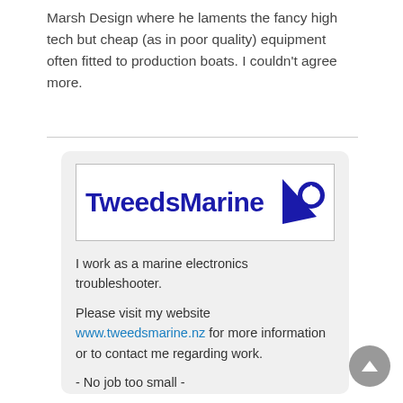Marsh Design where he laments the fancy high tech but cheap (as in poor quality) equipment often fitted to production boats. I couldn't agree more.
[Figure (logo): TweedsMarine logo with sail and power button icon in dark blue on white background with border]
I work as a marine electronics troubleshooter.
Please visit my website www.tweedsmarine.nz for more information or to contact me regarding work.
- No job too small -